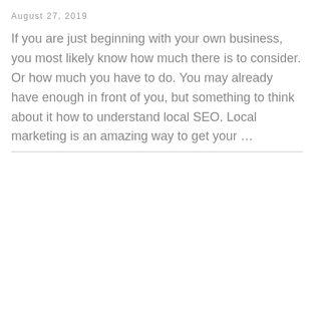August 27, 2019
If you are just beginning with your own business, you most likely know how much there is to consider. Or how much you have to do. You may already have enough in front of you, but something to think about it how to understand local SEO. Local marketing is an amazing way to get your …